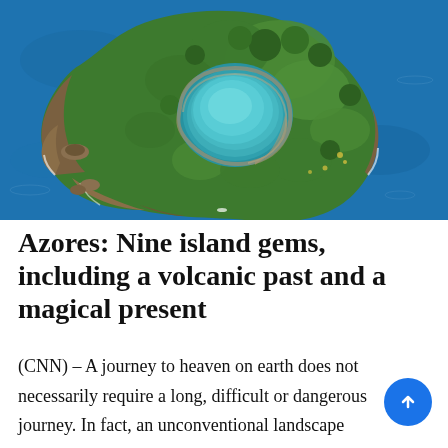[Figure (photo): Aerial view of a small volcanic island with a circular turquoise lagoon/crater lake in the center, surrounded by green vegetation and rocky cliffs, set in deep blue ocean water. The island appears to be Islet of Vila Franca do Campo in the Azores.]
Azores: Nine island gems, including a volcanic past and a magical present
(CNN) – A journey to heaven on earth does not necessarily require a long, difficult or dangerous journey. In fact, an unconventional landscape